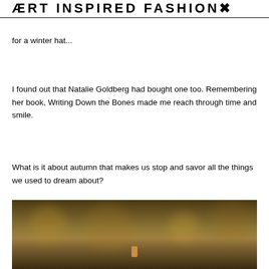ART INSPIRED FASHION
for a winter hat...
I found out that Natalie Goldberg had bought one too. Remembering her book, Writing Down the Bones made me reach through time and smile.
What is it about autumn that makes us stop and savor all the things we used to dream about?
[Figure (photo): Dark autumnal outdoor photograph with blurred warm brown and golden tones, showing bokeh light effects in background, possibly a forest or park scene in autumn]